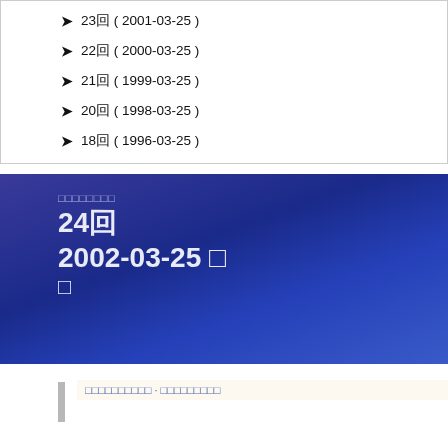23回 ( 2001-03-25 )
22回 ( 2000-03-25 )
21回 ( 1999-03-25 )
20回 ( 1998-03-25 )
18回 ( 1996-03-25 )
[Figure (other): Blue gradient banner with Japanese text, showing 24回 2002-03-25]
xxxxxxxxxx · xxxxxxxxx